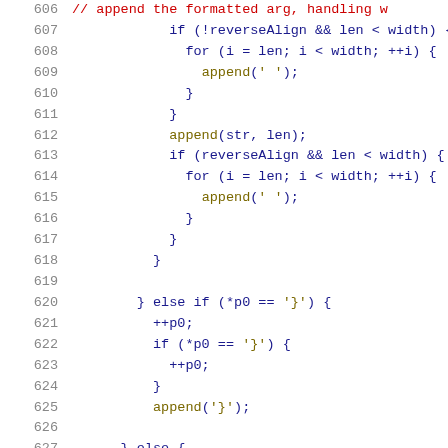[Figure (screenshot): Source code listing, lines 606-627, showing C++ code with colored syntax highlighting. Line numbers in gray on the left, keywords in dark blue, function calls in dark yellow/olive, comments in red.]